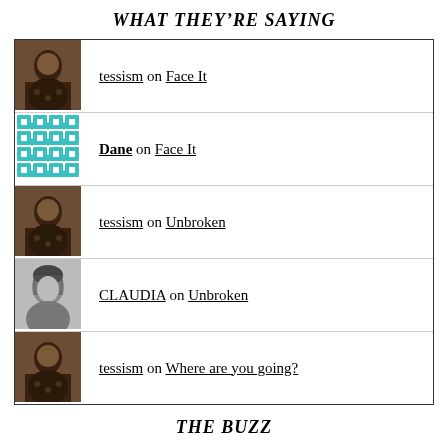WHAT THEY'RE SAYING
tessism on Face It
Dane on Face It
tessism on Unbroken
CLAUDIA on Unbroken
tessism on Where are you going?
THE BUZZ